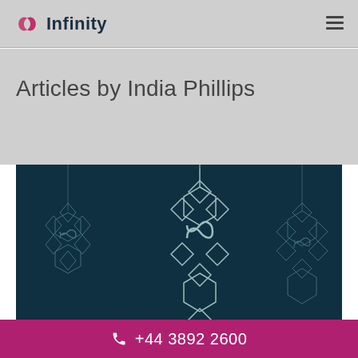Infinity
Articles by India Phillips
[Figure (illustration): Dark teal background with decorative geometric snowflake/ornament patterns made of interlocking hexagons and diamond shapes, rendered as outline illustrations on the dark background. Three ornament designs of different sizes are visible.]
+44 3892 2600